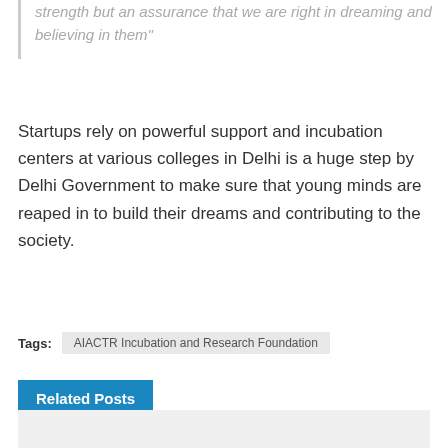strength but an assurance that we are right in dreaming and believing in them"
Startups rely on powerful support and incubation centers at various colleges in Delhi is a huge step by Delhi Government to make sure that young minds are reaped in to build their dreams and contributing to the society.
Tags: AIACTR Incubation and Research Foundation
Related Posts